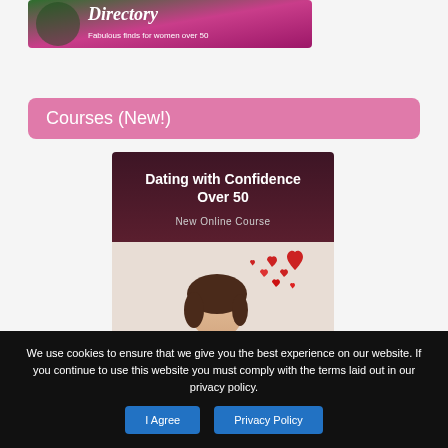[Figure (illustration): Banner image for a women's directory website with text 'Directory' in cursive and 'Fabulous finds for women over 50' on a pink/green background]
Courses (New!)
[Figure (illustration): Course card for 'Dating with Confidence Over 50 - New Online Course' showing a woman blowing hearts]
We use cookies to ensure that we give you the best experience on our website. If you continue to use this website you must comply with the terms laid out in our privacy policy.
I Agree
Privacy Policy